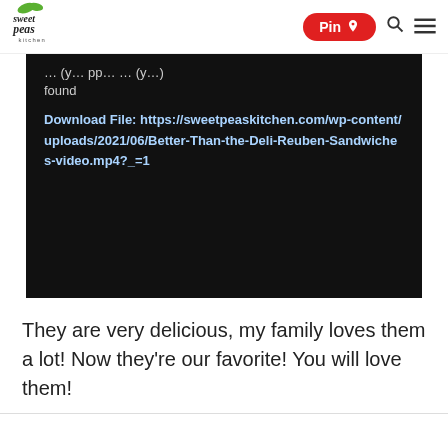Sweet Peas Kitchen — Pin | Search | Menu
[Figure (screenshot): Dark video player error block showing partial error text and a download file URL: https://sweetpeaskitchen.com/wp-content/uploads/2021/06/Better-Than-the-Deli-Reuben-Sandwiches-video.mp4?_=1]
They are very delicious, my family loves them a lot! Now they're our favorite! You will love them!